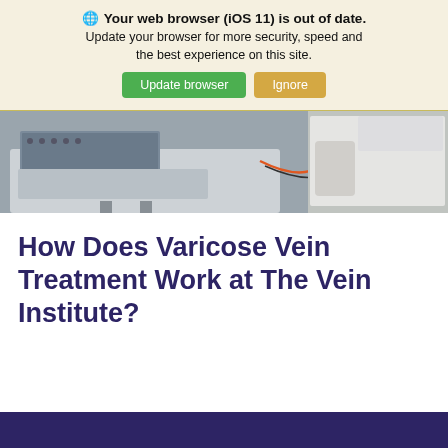🌐 Your web browser (iOS 11) is out of date. Update your browser for more security, speed and the best experience on this site. Update browser | Ignore
[Figure (photo): Medical ultrasound machine with keyboard and screen on the left, and a person in a white shirt standing on the right]
How Does Varicose Vein Treatment Work at The Vein Institute?